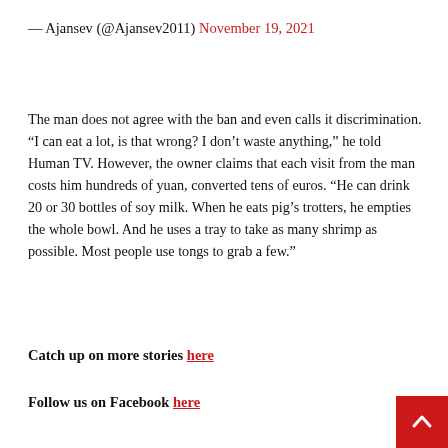— Ajansev (@Ajansev2011) November 19, 2021
The man does not agree with the ban and even calls it discrimination. “I can eat a lot, is that wrong? I don’t waste anything,” he told Human TV. However, the owner claims that each visit from the man costs him hundreds of yuan, converted tens of euros. “He can drink 20 or 30 bottles of soy milk. When he eats pig’s trotters, he empties the whole bowl. And he uses a tray to take as many shrimp as possible. Most people use tongs to grab a few.”
Catch up on more stories here
Follow us on Facebook here